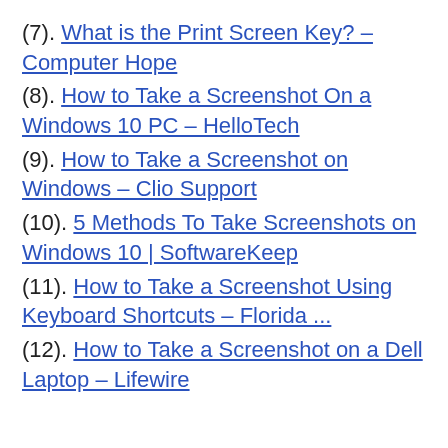(7). What is the Print Screen Key? – Computer Hope
(8). How to Take a Screenshot On a Windows 10 PC – HelloTech
(9). How to Take a Screenshot on Windows – Clio Support
(10). 5 Methods To Take Screenshots on Windows 10 | SoftwareKeep
(11). How to Take a Screenshot Using Keyboard Shortcuts – Florida ...
(12). How to Take a Screenshot on a Dell Laptop – Lifewire